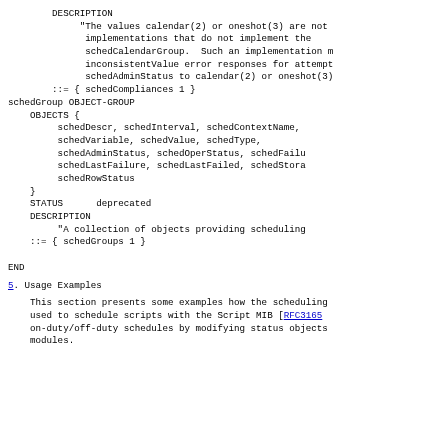DESCRIPTION
     "The values calendar(2) or oneshot(3) are not
      implementations that do not implement the
      schedCalendarGroup.  Such an implementation m
      inconsistentValue error responses for attempt
      schedAdminStatus to calendar(2) or oneshot(3)
 ::= { schedCompliances 1 }
schedGroup OBJECT-GROUP
    OBJECTS {
         schedDescr, schedInterval, schedContextName,
         schedVariable, schedValue, schedType,
         schedAdminStatus, schedOperStatus, schedFailu
         schedLastFailure, schedLastFailed, schedStora
         schedRowStatus
    }
    STATUS      deprecated
    DESCRIPTION
         "A collection of objects providing scheduling
    ::= { schedGroups 1 }
END
5.  Usage Examples
This section presents some examples how the scheduling
used to schedule scripts with the Script MIB [RFC3165
on-duty/off-duty schedules by modifying status objects
modules.